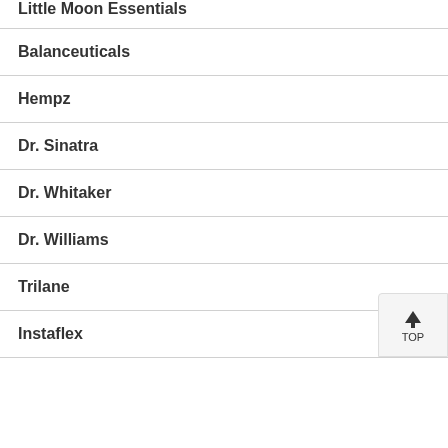Little Moon Essentials
Balanceuticals
Hempz
Dr. Sinatra
Dr. Whitaker
Dr. Williams
Trilane
Instaflex